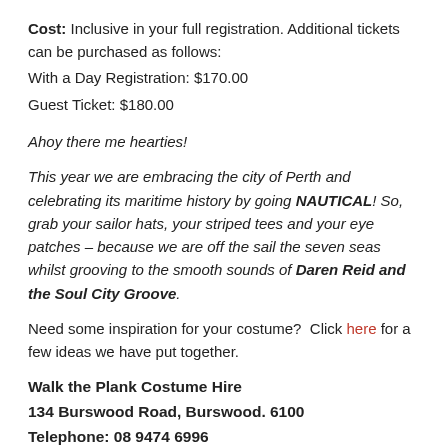Cost: Inclusive in your full registration. Additional tickets can be purchased as follows:
With a Day Registration: $170.00
Guest Ticket: $180.00
Ahoy there me hearties!
This year we are embracing the city of Perth and celebrating its maritime history by going NAUTICAL! So, grab your sailor hats, your striped tees and your eye patches – because we are off the sail the seven seas whilst grooving to the smooth sounds of Daren Reid and the Soul City Groove.
Need some inspiration for your costume?  Click here for a few ideas we have put together.
Walk the Plank Costume Hire
134 Burswood Road, Burswood. 6100
Telephone: 08 9474 6996